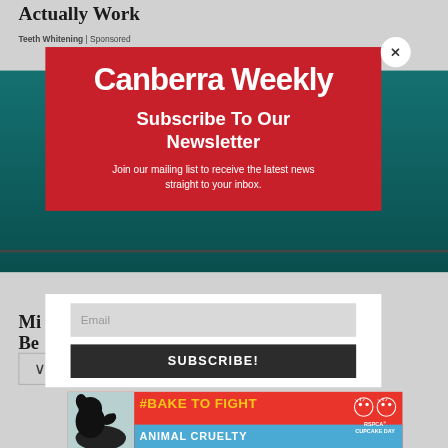Actually Work
Teeth Whitening | Sponsored
[Figure (screenshot): Canberra Weekly newsletter subscription modal overlay on a webpage. Red modal with white text showing 'Canberra Weekly' logo, 'Subscribe To Our Newsletter' headline, descriptive text, email input field, and SUBSCRIBE button. Below is an RSPCA #BAKE TO FIGHT ANIMAL CRUELTY CUPCAKE DAY advertisement banner.]
Mi
Be
Canberra Weekly
Subscribe To Our Newsletter
Join our mailing list to receive the latest news straight to your inbox.
Email
SUBSCRIBE!
#BAKE TO FIGHT ANIMAL CRUELTY
RSPCA CUPCAKE DAY